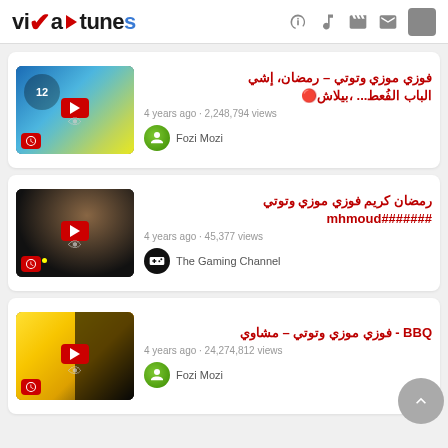vixa tunes
[Figure (screenshot): Video thumbnail 1: animated children's show with character in yellow]
فوزي موزي وتوتي – رمضان، إشي بيلاش، الباب الفُعط...
4 years ago - 2,248,794 views
Fozi Mozi
[Figure (screenshot): Video thumbnail 2: nighttime scene with person in yellow]
رمضان كريم فوزي موزي وتوتي#######mhmoud
4 years ago - 45,377 views
The Gaming Channel
[Figure (screenshot): Video thumbnail 3: two people on yellow background]
BBQ - فوزي موزي وتوتي – مشاوي
4 years ago - 24,274,812 views
Fozi Mozi